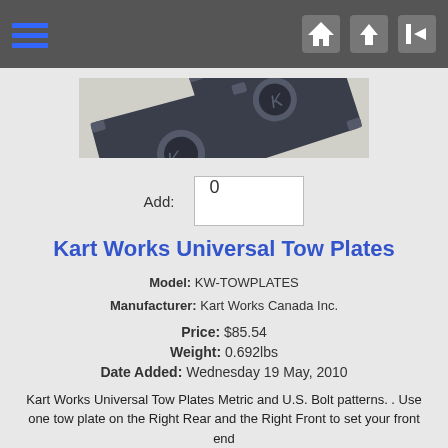Navigation bar with hamburger menu and icons
[Figure (photo): Photo of Kart Works Universal Tow Plates — two dark metal plates with mounting holes and cutouts, overlapping on a light background]
Add: 0
Kart Works Universal Tow Plates
Model: KW-TOWPLATES
Manufacturer: Kart Works Canada Inc.
Price: $85.54
Weight: 0.692lbs
Date Added: Wednesday 19 May, 2010
Kart Works Universal Tow Plates Metric and U.S. Bolt patterns. . Use one tow plate on the Right Rear and the Right Front to set your front end